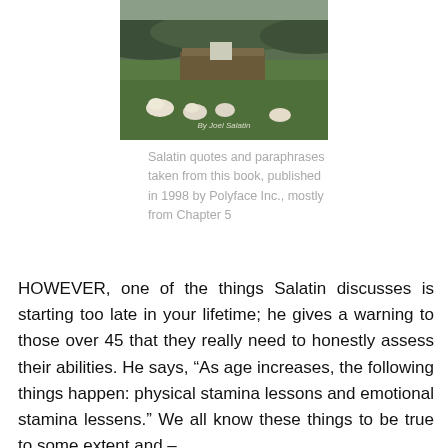[Figure (photo): Photograph of sheep/livestock in a green field with farm buildings and hills in the background. Text overlay reads 'By Joel Salatin'.]
Salatin quotes and paraphrases taken from this book, published in 1998 by Polyface Inc., mostly from Chapter 5
HOWEVER, one of the things Salatin discusses is starting too late in your lifetime; he gives a warning to those over 45 that they really need to honestly assess their abilities. He says, “As age increases, the following things happen: physical stamina lessons and emotional stamina lessens.” We all know these things to be true to some extent and –